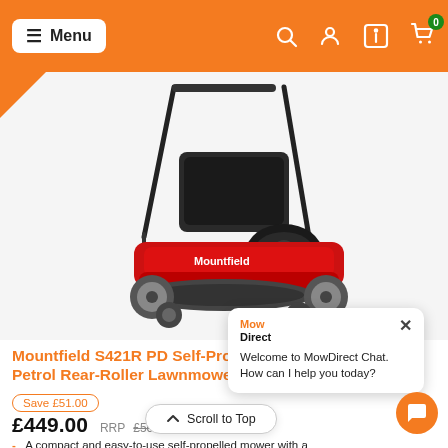Menu | Search | Account | Info | Cart (0)
[Figure (photo): Mountfield S421R PD Self-Propelled Petrol Rear-Roller Lawnmower product photo — red and black petrol lawnmower with rear roller, grass collection bag, and ergonomic handles on a white background.]
Mountfield S421R PD Self-Propelled Petrol Rear-Roller Lawnmower
Save £51.00
£449.00 RRP £500.00
A compact and easy-to-use self-propelled mower with a roller for the classic stripe
Clean-running and powered by a head-valve engine from STIGA
Welcome to MowDirect Chat. How can I help you today?